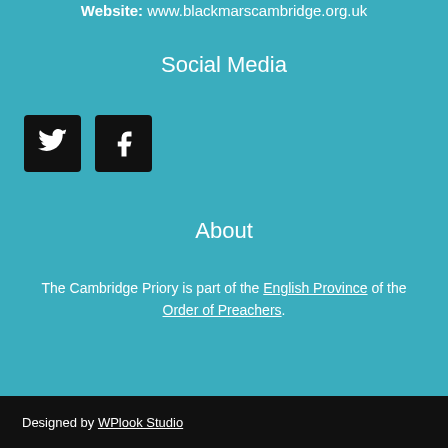Website: www.blackmarscambridge.org.uk
Social Media
[Figure (other): Twitter and Facebook social media icon buttons (dark square buttons with white bird and 'f' icons)]
About
The Cambridge Priory is part of the English Province of the Order of Preachers.
Designed by WPlook Studio